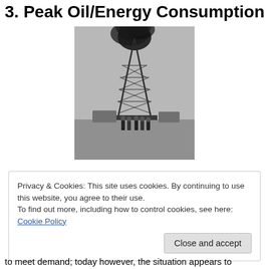3. Peak Oil/Energy Consumption
[Figure (photo): Black and white historical photograph of an oil derrick/gusher with a large plume of dark smoke rising from the top. Several people are standing at the base of the tall metal derrick structure.]
Privacy & Cookies: This site uses cookies. By continuing to use this website, you agree to their use.
To find out more, including how to control cookies, see here: Cookie Policy
Close and accept
to meet demand; today however, the situation appears to